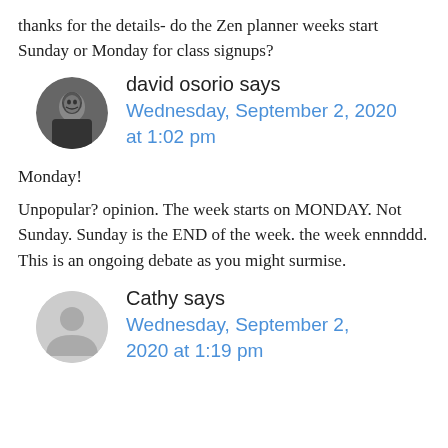thanks for the details- do the Zen planner weeks start Sunday or Monday for class signups?
david osorio says Wednesday, September 2, 2020 at 1:02 pm
Monday!
Unpopular? opinion. The week starts on MONDAY. Not Sunday. Sunday is the END of the week. the week ennnddd. This is an ongoing debate as you might surmise.
Cathy says Wednesday, September 2, 2020 at 1:19 pm